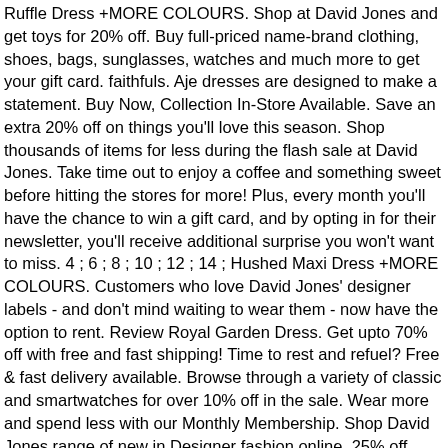Ruffle Dress +MORE COLOURS. Shop at David Jones and get toys for 20% off. Buy full-priced name-brand clothing, shoes, bags, sunglasses, watches and much more to get your gift card. faithfuls. Aje dresses are designed to make a statement. Buy Now, Collection In-Store Available. Save an extra 20% off on things you'll love this season. Shop thousands of items for less during the flash sale at David Jones. Take time out to enjoy a coffee and something sweet before hitting the stores for more! Plus, every month you'll have the chance to win a gift card, and by opting in for their newsletter, you'll receive additional surprise you won't want to miss. 4 ; 6 ; 8 ; 10 ; 12 ; 14 ; Hushed Maxi Dress +MORE COLOURS. Customers who love David Jones' designer labels - and don't mind waiting to wear them - now have the option to rent. Review Royal Garden Dress. Get upto 70% off with free and fast shipping! Time to rest and refuel? Free & fast delivery available. Browse through a variety of classic and smartwatches for over 10% off in the sale. Wear more and spend less with our Monthly Membership. Shop David Jones range of new in Designer fashion online. 25% off David Jones dresses, jeans, shoes and more for a limited time only! Delivering Australia-wide. 6 8 10 12 14 16 esteem dress . La Maison Talulah is an Australian womenswear label offering designer dresses, cocktail dresses and